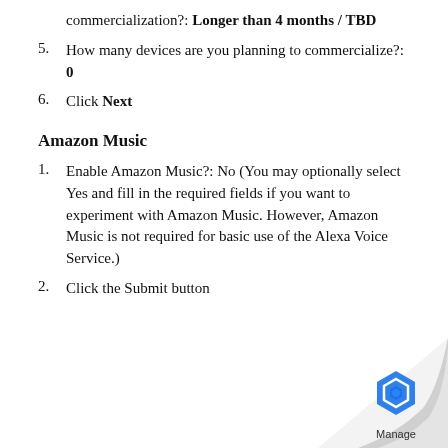commercialization?: Longer than 4 months / TBD
How many devices are you planning to commercialize?: 0
Click Next
Amazon Music
Enable Amazon Music?: No (You may optionally select Yes and fill in the required fields if you want to experiment with Amazon Music. However, Amazon Music is not required for basic use of the Alexa Voice Service.)
Click the Submit button
[Figure (logo): Page curl effect at bottom right corner with a blue hexagon logo and the word Manage below it]